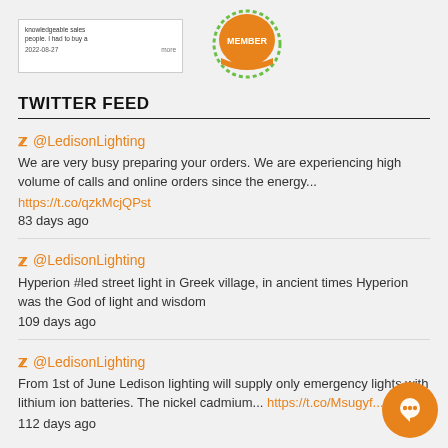[Figure (screenshot): Review widget showing text about knowledgeable sales people, dated 2022-08-27, with 'more' link]
[Figure (logo): Orange circular MEMBER badge/seal with green dotted border]
TWITTER FEED
@LedisonLighting
We are very busy preparing your orders. We are experiencing high volume of calls and online orders since the energy...
https://t.co/qzkMcjQPst
83 days ago
@LedisonLighting
Hyperion #led street light in Greek village, in ancient times Hyperion was the God of light and wisdom
109 days ago
@LedisonLighting
From 1st of June Ledison lighting will supply only emergency lights with lithium ion batteries. The nickel cadmium... https://t.co/Msugyf...
112 days ago